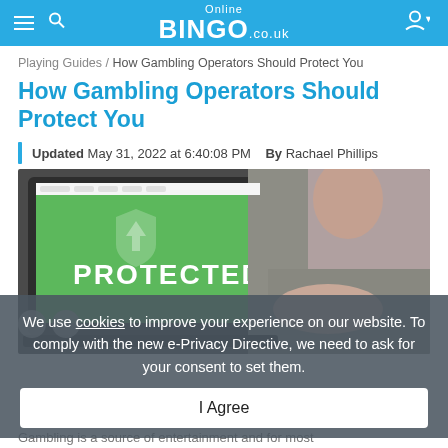Online BINGO.co.uk
Playing Guides / How Gambling Operators Should Protect You
How Gambling Operators Should Protect You
Updated May 31, 2022 at 6:40:08 PM   By Rachael Phillips
[Figure (photo): A person using a laptop displaying a green screen with the word PROTECTED in white bold letters, with a shield icon.]
We use cookies to improve your experience on our website. To comply with the new e-Privacy Directive, we need to ask for your consent to set them.
I Agree
Gambling is a source of entertainment and for most